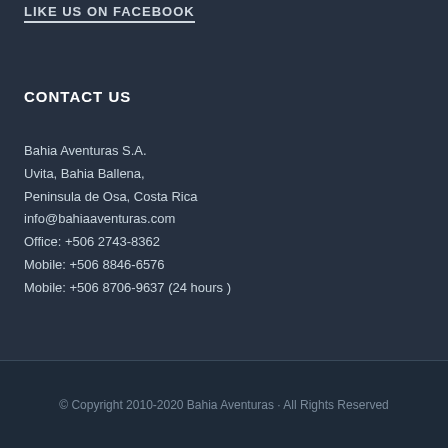LIKE US ON FACEBOOK
CONTACT US
Bahia Aventuras S.A.
Uvita, Bahia Ballena,
Peninsula de Osa, Costa Rica
info@bahiaaventuras.com
Office: +506 2743-8362
Mobile: +506 8846-6576
Mobile: +506 8706-9637 (24 hours )
© Copyright 2010-2020 Bahia Aventuras · All Rights Reserved